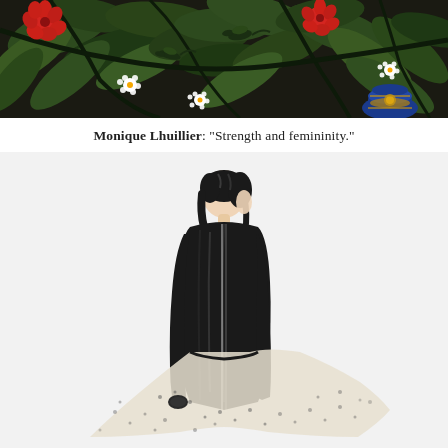[Figure (illustration): Close-up illustration of lush botanical foliage with dark green leaves, red flowers, white small blossoms with yellow centers, and a blue decorative vase or vessel with gold details at the bottom right.]
Monique Lhuillier: “Strength and femininity.”
[Figure (illustration): Fashion illustration of a woman seen from behind, wearing a sleek black long-sleeved fitted top and a flowing semi-sheer dotted skirt or cape. She has short dark hair and is posed elegantly on a white background.]